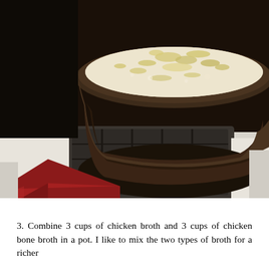[Figure (photo): A dark brown saucepan with a red handle sitting on a stovetop burner, containing a creamy white liquid with sautéed onions or garlic visible on the surface.]
3. Combine 3 cups of chicken broth and 3 cups of chicken bone broth in a pot. I like to mix the two types of broth for a richer